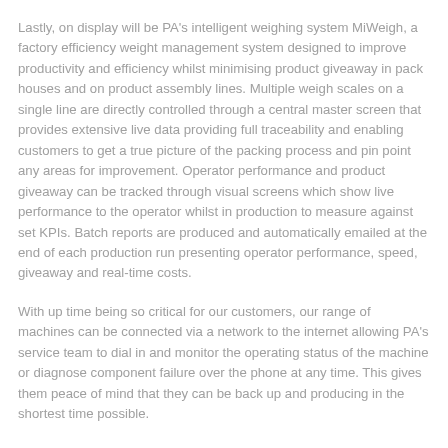Lastly, on display will be PA's intelligent weighing system MiWeigh, a factory efficiency weight management system designed to improve productivity and efficiency whilst minimising product giveaway in pack houses and on product assembly lines. Multiple weigh scales on a single line are directly controlled through a central master screen that provides extensive live data providing full traceability and enabling customers to get a true picture of the packing process and pin point any areas for improvement. Operator performance and product giveaway can be tracked through visual screens which show live performance to the operator whilst in production to measure against set KPIs. Batch reports are produced and automatically emailed at the end of each production run presenting operator performance, speed, giveaway and real-time costs.
With up time being so critical for our customers, our range of machines can be connected via a network to the internet allowing PA's service team to dial in and monitor the operating status of the machine or diagnose component failure over the phone at any time. This gives them peace of mind that they can be back up and producing in the shortest time possible.